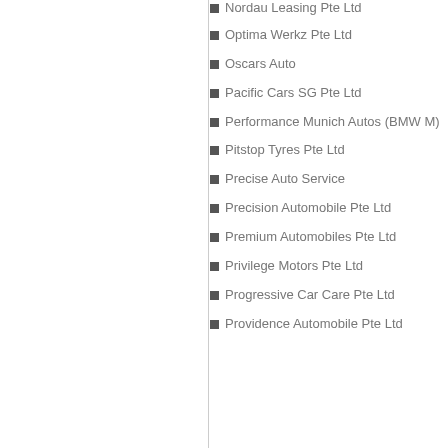Nordau Leasing Pte Ltd
Optima Werkz Pte Ltd
Oscars Auto
Pacific Cars SG Pte Ltd
Performance Munich Autos (BMW M)
Pitstop Tyres Pte Ltd
Precise Auto Service
Precision Automobile Pte Ltd
Premium Automobiles Pte Ltd
Privilege Motors Pte Ltd
Progressive Car Care Pte Ltd
Providence Automobile Pte Ltd